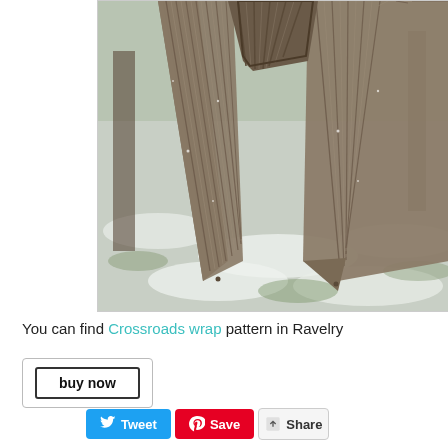[Figure (photo): Close-up photo of a knitted/crocheted wrap or shawl with ribbed texture and pointed ends, displayed outdoors in a snowy/frosty setting. The wrap has a dark brown/grey color with striped pattern and pointed tips hanging down.]
You can find Crossroads wrap pattern in Ravelry
buy now
Tweet  Save  Share